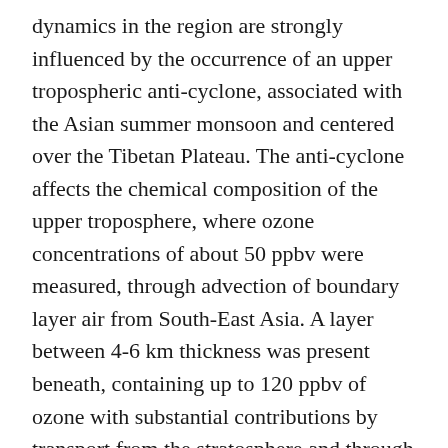dynamics in the region are strongly influenced by the occurrence of an upper tropospheric anti-cyclone, associated with the Asian summer monsoon and centered over the Tibetan Plateau. The anti-cyclone affects the chemical composition of the upper troposphere, where ozone concentrations of about 50 ppbv were measured, through advection of boundary layer air from South-East Asia. A layer between 4-6 km thickness was present beneath, containing up to 120 ppbv of ozone with substantial contributions by transport from the stratosphere and through lightning NOx. Additionally, pollutant ozone from North America was mixed in. Ozone in the lower troposphere originated mainly from the European continent. The stratospheric influence may be overestimated due to too strong vertical diffusion associated with the relatively coarse vertical resolution. The estimated tropospheric ozone column over the eastern Mediterranean is ~50 DU in